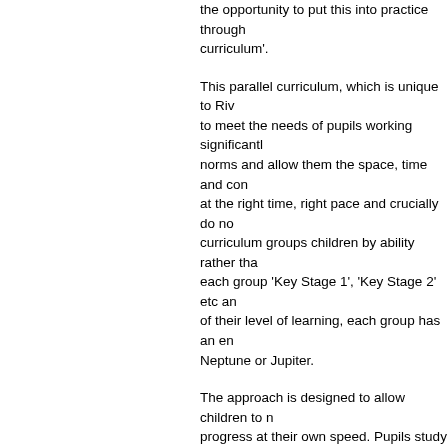the opportunity to put this into practice through curriculum'.
This parallel curriculum, which is unique to Rive to meet the needs of pupils working significantly norms and allow them the space, time and con at the right time, right pace and crucially do not curriculum groups children by ability rather tha each group 'Key Stage 1', 'Key Stage 2' etc an of their level of learning, each group has an en Neptune or Jupiter.
The approach is designed to allow children to progress at their own speed. Pupils study a spe each half term) across all core and humanity s curricular, creative approach. For example, the all aspects of their learning, such as French, G focus on this theme for half a term. At any time progress, there is the option to transfer across
The right staffing is of course essential to the s particularly in this model, as whilst the children they are often covering primary school work. R some excellent primary practitioners as part o